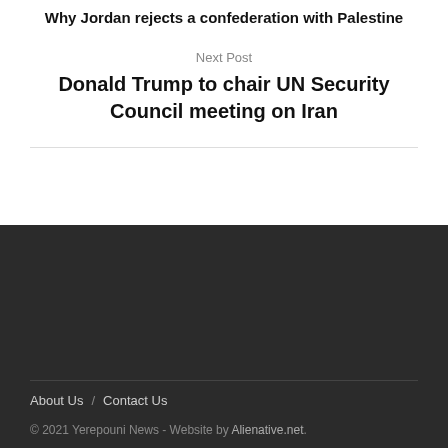Why Jordan rejects a confederation with Palestine
Next Post
Donald Trump to chair UN Security Council meeting on Iran
About Us / Contact Us
© 2021 Yerepouni News - Website by Alienative.net.